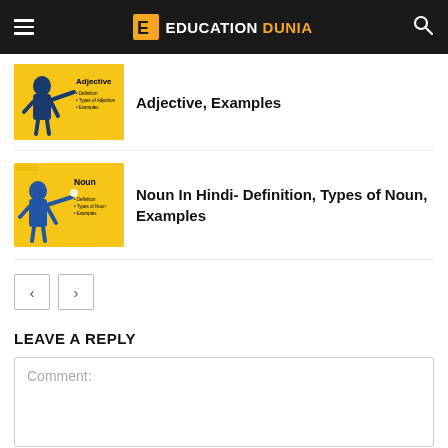EDUCATION DUNIA
[Figure (illustration): Yellow thumbnail showing Adjective infographic with a person pointing]
Adjective, Examples
[Figure (illustration): Yellow thumbnail showing Noun infographic with a person pointing]
Noun In Hindi- Definition, Types of Noun, Examples
Pagination: previous and next buttons
LEAVE A REPLY
Comment: